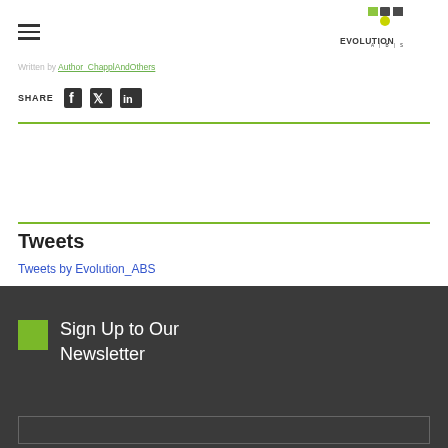Evolution ABS — navigation header with hamburger menu and logo
Written by [author name redacted/linked]
SHARE [Facebook, Twitter, LinkedIn icons]
Tweets
Tweets by Evolution_ABS
Sign Up to Our Newsletter